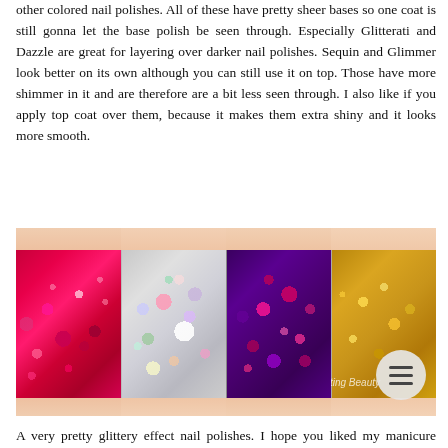other colored nail polishes. All of these have pretty sheer bases so one coat is still gonna let the base polish be seen through. Especially Glitterati and Dazzle are great for layering over darker nail polishes. Sequin and Glimmer look better on its own although you can still use it on top. Those have more shimmer in it and are therefore are a bit less seen through. I also like if you apply top coat over them, because it makes them extra shiny and it looks more smooth.
[Figure (photo): Four close-up photos of glittery nail polish on fingernails side by side: first nail with red/pink chunky glitter, second nail with silver/multicolor mixed glitter, third nail with dark purple and pink glitter, fourth nail with gold shimmer glitter.]
A very pretty glittery effect nail polishes. I hope you liked my manicure ideas. Maybe I gave you some inspiration for